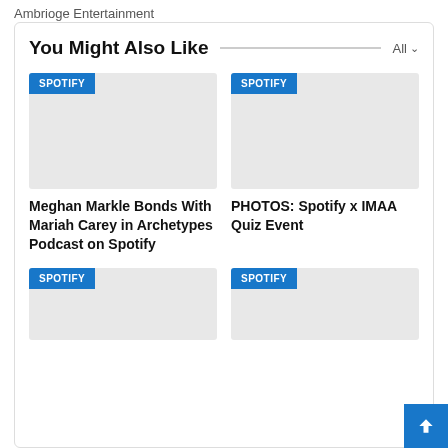Ambrioge Entertainment
You Might Also Like
[Figure (screenshot): Card image placeholder with SPOTIFY badge label, light gray background]
Meghan Markle Bonds With Mariah Carey in Archetypes Podcast on Spotify
[Figure (screenshot): Card image placeholder with SPOTIFY badge label, light gray background]
PHOTOS: Spotify x IMAA Quiz Event
[Figure (screenshot): Card image placeholder with SPOTIFY badge label, light gray background, partial view]
[Figure (screenshot): Card image placeholder with SPOTIFY badge label, light gray background, partial view]